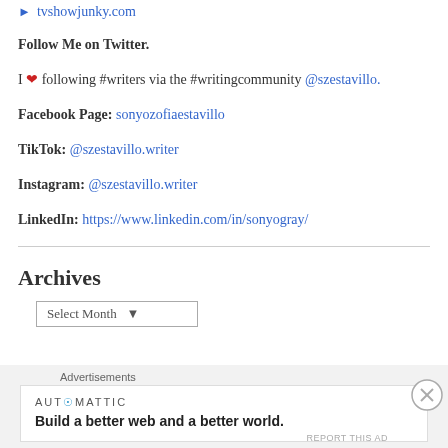▶ tvshowjunky.com
Follow Me on Twitter.
I ❤ following #writers via the #writingcommunity @szestavillo.
Facebook Page: sonyozofiaestavillo
TikTok: @szestavillo.writer
Instagram: @szestavillo.writer
LinkedIn: https://www.linkedin.com/in/sonyogray/
Archives
Select Month
Advertisements
AUT⊙MATTIC
Build a better web and a better world.